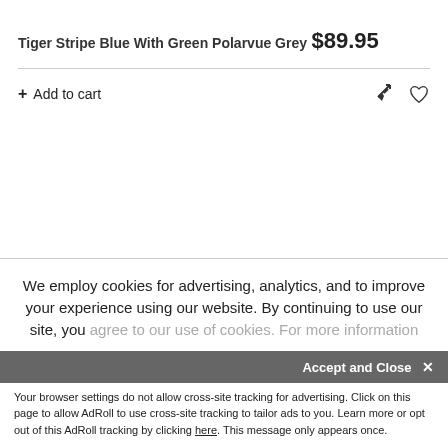Tiger Stripe Blue With Green Polarvue Grey
$89.95
+ Add to cart
We employ cookies for advertising, analytics, and to improve your experience using our website. By continuing to use our site, you agree to our use of cookies. For more information
Accept and Close ✕
Your browser settings do not allow cross-site tracking for advertising. Click on this page to allow AdRoll to use cross-site tracking to tailor ads to you. Learn more or opt out of this AdRoll tracking by clicking here. This message only appears once.